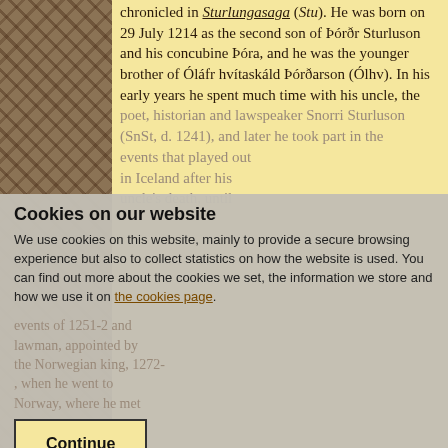[Figure (illustration): Decorative illuminated manuscript-style border on the left side with interlaced dark brown patterns on a tan/brown background]
chronicled in Sturlungasaga (Stu). He was born on 29 July 1214 as the second son of Þórðr Sturluson and his concubine Þóra, and he was the younger brother of Óláfr hvítaskáld Þórðarson (Ólhv). In his early years he spent much time with his uncle, the poet, historian and lawspeaker Snorri Sturluson (SnSt, d. 1241), and later he took part in the events that played out in Iceland after his uncle's death, until the events of 1251-2 and lawman, appointed by the Norwegian king, 1272- , when he went to Norway, where he met King Magnús lagabœtir 'Law-mender' Hákonarson (d. 1280)
Cookies on our website
We use cookies on this website, mainly to provide a secure browsing experience but also to collect statistics on how the website is used. You can find out more about the cookies we set, the information we store and how we use it on the cookies page.
Continue